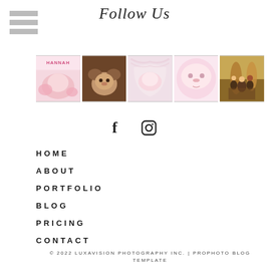[Figure (other): Hamburger menu icon - three horizontal gray bars]
Follow Us
[Figure (photo): Strip of 5 photography thumbnails: newborn with flowers (Hannah), baby in bear hat, sleeping newborn, close-up baby face, family in autumn leaves]
[Figure (other): Social media icons: Facebook f icon and Instagram camera icon]
HOME
ABOUT
PORTFOLIO
BLOG
PRICING
CONTACT
© 2022 LUXAVISION PHOTOGRAPHY INC. | PROPHOTO BLOG TEMPLATE